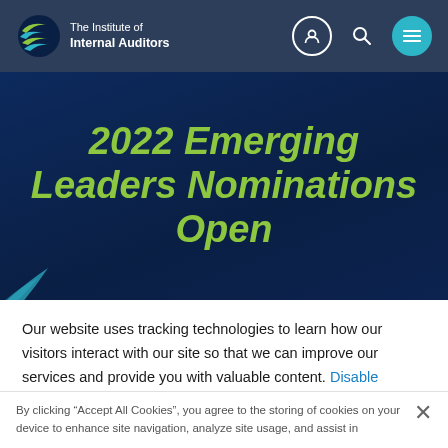The Institute of Internal Auditors
2022 Emerging Leaders Nominations Open
Our website uses tracking technologies to learn how our visitors interact with our site so that we can improve our services and provide you with valuable content. Disable Tracking.
By clicking “Accept All Cookies”, you agree to the storing of cookies on your device to enhance site navigation, analyze site usage, and assist in